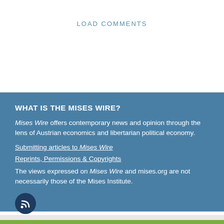LOAD COMMENTS
WHAT IS THE MISES WIRE?
Mises Wire offers contemporary news and opinion through the lens of Austrian economics and libertarian political economy.
Submitting articles to Mises Wire
Reprints, Permissions & Copyrights
The views expressed on Mises Wire and mises.org are not necessarily those of the Mises Institute.
[Figure (other): RSS feed icon — white wifi-like signal symbol on dark navy circle background]